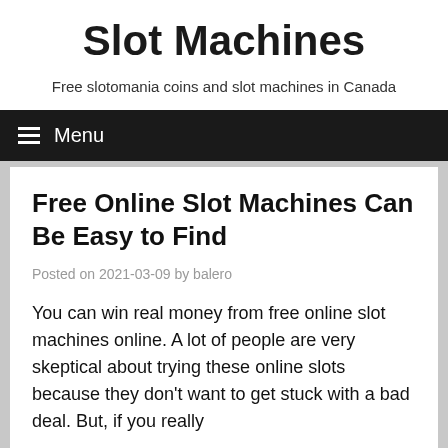Slot Machines
Free slotomania coins and slot machines in Canada
Menu
Free Online Slot Machines Can Be Easy to Find
Posted on 2021-03-09 by balero
You can win real money from free online slot machines online. A lot of people are very skeptical about trying these online slots because they don't want to get stuck with a bad deal. But, if you really